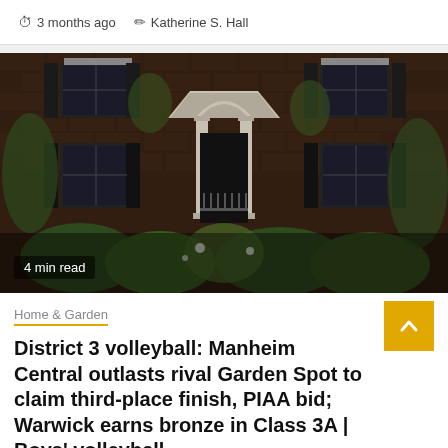3 months ago   Katherine S. Hall
[Figure (photo): Exterior of a large brick house with classical columns at the entrance, black shutters, and ivy/green plants surrounding the doorway and windows. Dark, moody photograph.]
4 min read
Home & Garden
District 3 volleyball: Manheim Central outlasts rival Garden Spot to claim third-place finish, PIAA bid; Warwick earns bronze in Class 3A | Boys' volleyball